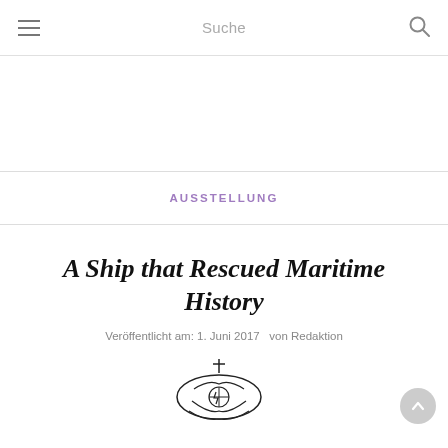Suche
AUSSTELLUNG
A Ship that Rescued Maritime History
Veröffentlicht am: 1. Juni 2017   von Redaktion
[Figure (illustration): Partial illustration of a ship emblem or logo at the bottom of the page]